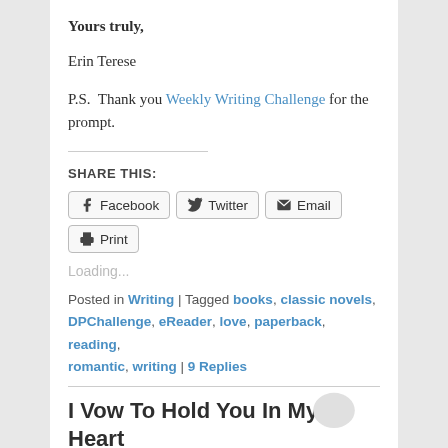Yours truly,
Erin Terese
P.S.  Thank you Weekly Writing Challenge for the prompt.
SHARE THIS:
Facebook  Twitter  Email  Print
Loading...
Posted in Writing | Tagged books, classic novels, DPChallenge, eReader, love, paperback, reading, romantic, writing | 9 Replies
I Vow To Hold You In My Heart